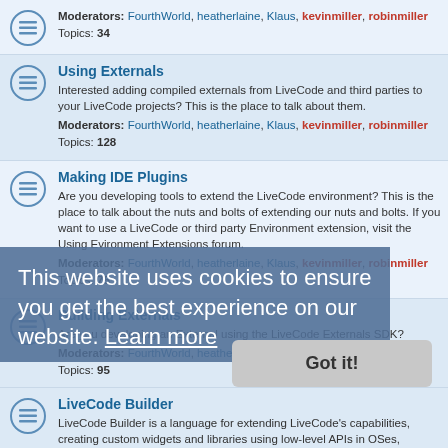Moderators: FourthWorld, heatherlaine, Klaus, kevinmiller, robinmiller
Topics: 34
Using Externals
Interested adding compiled externals from LiveCode and third parties to your LiveCode projects? This is the place to talk about them.
Moderators: FourthWorld, heatherlaine, Klaus, kevinmiller, robinmiller
Topics: 128
Making IDE Plugins
Are you developing tools to extend the LiveCode environment? This is the place to talk about the nuts and bolts of extending our nuts and bolts. If you want to use a LiveCode or third party Environment extension, visit the Using Evironment Extensions forum.
Moderators: FourthWorld, heatherlaine, Klaus, kevinmiller, robinmiller
Topics: 75
Building Externals
Are you developing an External using the LiveCode Externals SDK?
Moderators: FourthWorld, heatherlaine, Klaus, kevinmiller, robinmiller
Topics: 95
LiveCode Builder
LiveCode Builder is a language for extending LiveCode's capabilities, creating custom widgets and libraries using low-level APIs in OSes, applications, and DLLs.
Topics: 282
Platform Specific
Windows
Deploying to Windows? Utilizing VB Script execution? This is the place to ask Windows-specific questions.
This website uses cookies to ensure you get the best experience on our website. Learn more
Got it!